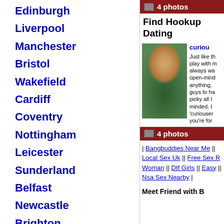Edinburgh
Liverpool
Manchester
Bristol
Wakefield
Cardiff
Coventry
Nottingham
Leicester
Sunderland
Belfast
Newcastle
Brighton
Hull
4 photos
Find Hookup Dating
[Figure (photo): Profile photo of a woman in a green top]
curiou...
Just like th play with m always wa open-minc anything, guys to ha picky all I minded. I 'curiouser you're for
4 photos
| Bangbuddies Near Me || Local Sex Uk || Free Sex Woman || Dtf Girls || Easy || Nsa Sex Nearby |
Meet Friend with B